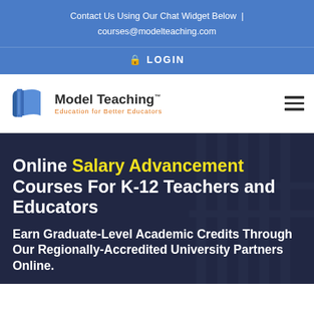Contact Us Using Our Chat Widget Below | courses@modelteaching.com
LOGIN
[Figure (logo): Model Teaching logo — open book icon with blue and grey pages, text 'Model Teaching™' and tagline 'Education for Better Educators' in orange]
Online Salary Advancement Courses For K-12 Teachers and Educators
Earn Graduate-Level Academic Credits Through Our Regionally-Accredited University Partners Online.